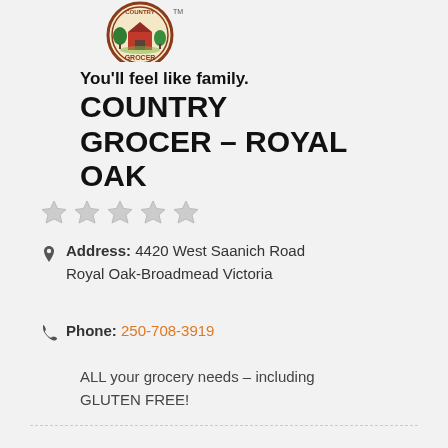[Figure (logo): Country Grocer logo — circular badge with a red barn, farm scene, and 'GROCER' text, with TM mark]
You'll feel like family.
COUNTRY GROCER – ROYAL OAK
[Figure (other): Five empty/grey star rating icons]
Address: 4420 West Saanich Road Royal Oak-Broadmead Victoria
Phone: 250-708-3919
ALL your grocery needs – including GLUTEN FREE!